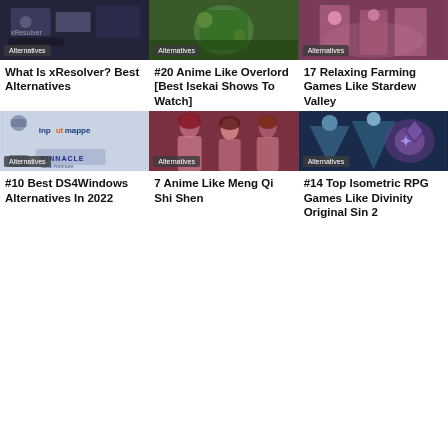[Figure (screenshot): Dark themed thumbnail with Alternatives badge]
What Is xResolver? Best Alternatives
[Figure (screenshot): Green themed thumbnail with Alternatives badge]
#20 Anime Like Overlord [Best Isekai Shows To Watch]
[Figure (screenshot): Pink/purple farming themed thumbnail with Alternatives badge]
17 Relaxing Farming Games Like Stardew Valley
[Figure (screenshot): InputMapper and Pinnacle logo screenshot with Alternatives badge]
#10 Best DS4Windows Alternatives In 2022
[Figure (screenshot): Anime characters thumbnail with Alternatives badge]
7 Anime Like Meng Qi Shi Shen
[Figure (screenshot): RPG isometric game thumbnail with Alternatives badge]
#14 Top Isometric RPG Games Like Divinity Original Sin 2